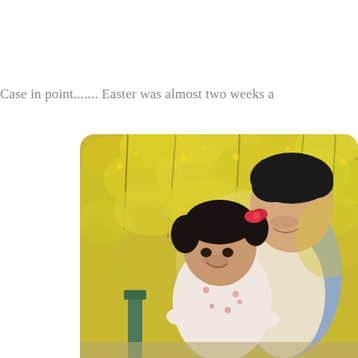Case in point....... Easter was almost two weeks a
[Figure (photo): A smiling young teenage boy with dark hair holds a toddler girl with pigtails and a red bow in her hair, wearing a white floral outfit. They are sitting outdoors in front of a bright yellow forsythia bush in bloom. The image has rounded top corners.]